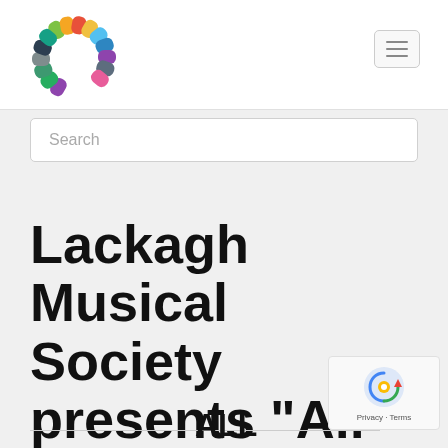[Figure (logo): Colorful circular logo made of colorful rounded segments forming a 'C' shape]
Search
Lackagh Musical Society presents “All Shook Up”
Posted February 21, 2010 by Emmet Farrell in News.
ALL